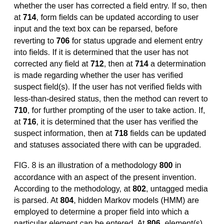whether the user has corrected a field entry. If so, then at 714, form fields can be updated according to user input and the text box can be reparsed, before reverting to 706 for status upgrade and element entry into fields. If it is determined that the user has not corrected any field at 712, then at 714 a determination is made regarding whether the user has verified suspect field(s). If the user has not verified fields with less-than-desired status, then the method can revert to 710, for further prompting of the user to take action. If, at 716, it is determined that the user has verified the suspect information, then at 718 fields can be updated and statuses associated there with can be upgraded.
FIG. 8 is an illustration of a methodology 800 in accordance with an aspect of the present invention. According to the methodology, at 802, untagged media is parsed. At 804, hidden Markov models (HMM) are employed to determine a proper field into which a particular element can be entered. At 806, element(s) are displayed in the determined proper fields with a status indicator. A user can be prompted at 808 to verify and/or correct information entered in the field(s). At 810, a determination